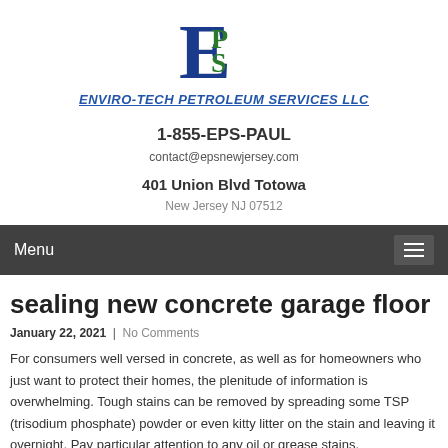[Figure (logo): Enviro-Tech Petroleum Services LLC logo with large blue E and green PS letters]
ENVIRO-TECH PETROLEUM SERVICES LLC
1-855-EPS-PAUL
contact@epsnewjersey.com
401 Union Blvd Totowa
New Jersey NJ 07512
Menu
sealing new concrete garage floor
January 22, 2021  |  No Comments
For consumers well versed in concrete, as well as for homeowners who just want to protect their homes, the plenitude of information is overwhelming. Tough stains can be removed by spreading some TSP (trisodium phosphate) powder or even kitty litter on the stain and leaving it overnight. Pay particular attention to any oil or grease stains.